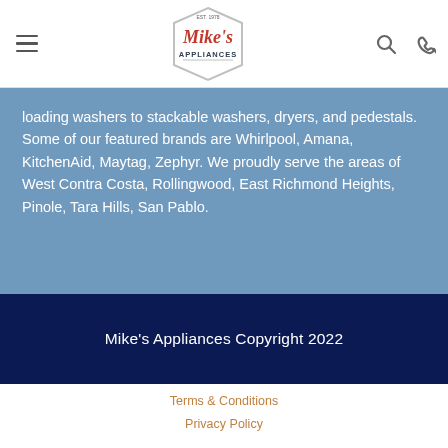[Figure (logo): Mike's Appliances logo - red cursive text on white background with hexagonal border]
loading washers to stackable washers, dryers, and pedestals. Some of our featured brands are Whirlpool, Amana, KitchenAid, Maytag, Zephyr. We proudly serve the areas of West Contra Costa, Rollingwood, East Richmond Heights, Pinole, Tara Hills, San Pablo.
Mike's Appliances Copyright 2022
Terms & Conditions
Privacy Policy